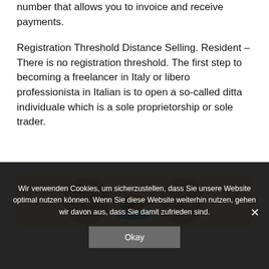number that allows you to invoice and receive payments.
Registration Threshold Distance Selling. Resident – There is no registration threshold. The first step to becoming a freelancer in Italy or libero professionista in Italian is to open a so-called ditta individuale which is a sole proprietorship or sole trader.
[Figure (illustration): A decorative illustration on a light yellow background showing a colorful fruit bowl in the center with partial circular decorative elements on either side.]
Wir verwenden Cookies, um sicherzustellen, dass Sie unsere Website optimal nutzen können. Wenn Sie diese Website weiterhin nutzen, gehen wir davon aus, dass Sie damit zufrieden sind.